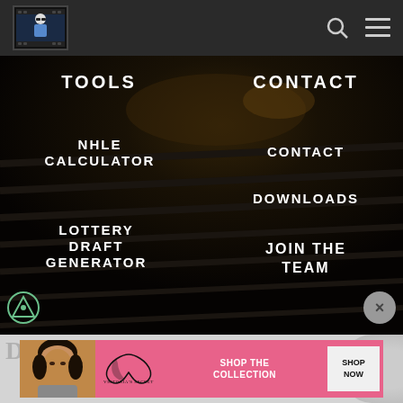Website header with logo, search icon, and menu icon
TOOLS
CONTACT
NHLE CALCULATOR
CONTACT
DOWNLOADS
LOTTERY DRAFT GENERATOR
JOIN THE TEAM
[Figure (screenshot): Victoria's Secret advertisement banner with model, VS logo, 'SHOP THE COLLECTION' text and 'SHOP NOW' button]